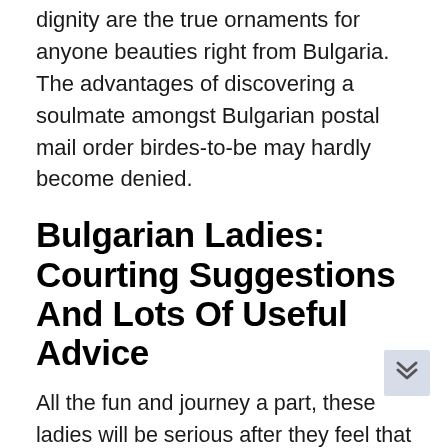dignity are the true ornaments for anyone beauties right from Bulgaria. The advantages of discovering a soulmate amongst Bulgarian postal mail order birdes-to-be may hardly become denied.
Bulgarian Ladies: Courting Suggestions And Lots Of Useful Advice
All the fun and journey a part, these ladies will be serious after they feel that the affair has come to a sure level. In addition they turn out to be serious about their targets as soon as they really feel meet to trigger a household.
Being married ceremony within this nation is one of the most important situations in the existence of virtually any particular person; they have an